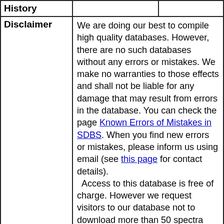| History |  |  |
| --- | --- | --- |
| Disclaimer | We are doing our best to compile high quality databases. However, there are no such databases without any errors or mistakes. We make no warranties to those effects and shall not be liable for any damage that may result from errors in the database. You can check the page Known Errors of Mistakes in SDBS. When you find new errors or mistakes, please inform us using email (see this page for contact details).
  Access to this database is free of charge. However we request visitors to our database not to download more than 50 spectra and/or compound information in one day. All accesses are recorded. It is prohibited that you use any information of SDBS for profit-making or commercial use without obtaining proper permission from us. If more spectra are required for some specific purpose or commercial use, you should consult us and describe the intended usage or purpose of our SDBS.
We also request that when you use the data of our SDBS in your publication or presentation, a proper acknowledgement be given as follows:
SDBSWeb : https://sdbs.db.aist.go.jp (National |